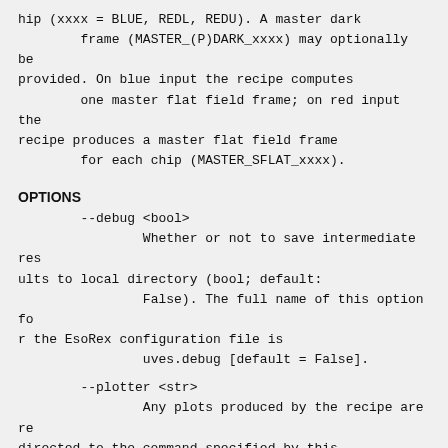hip (xxxx = BLUE, REDL, REDU). A master dark
        frame (MASTER_(P)DARK_xxxx) may optionally be
provided. On blue input the recipe computes
        one master flat field frame; on red input the
recipe produces a master flat field frame
        for each chip (MASTER_SFLAT_xxxx).
OPTIONS
--debug <bool>
                Whether or not to save intermediate res
ults to local directory (bool; default:
                False). The full name of this option fo
r the EsoRex configuration file is
                uves.debug [default = False].
--plotter <str>
                Any plots produced by the recipe are re
directed to the command specified by this
                parameter. The plotting command must co
ntain the substring 'gnuplot' and must be